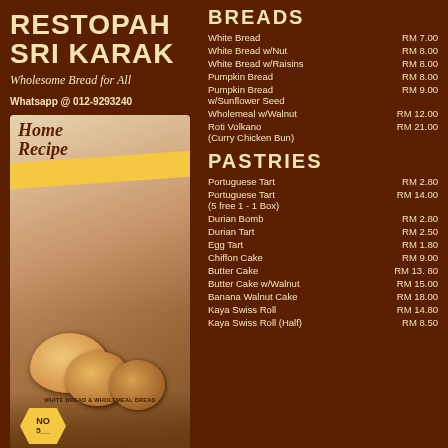RESTOРАН SRI KARAK
Wholesome Bread for All
Whatsapp @ 012-9293240
[Figure (photo): Photo of bread rolls and buns with 'Home Recipe' text overlay and yellow banner, labeled WHITE BREAD & WHOLEMEAL BREAD, with NO 5__ badge]
BREADS
| Item | Price |
| --- | --- |
| White Bread | RM 7.00 |
| White Bread w/Nut | RM 8.00 |
| White Bread w/Raisins | RM 8.00 |
| Pumpkin Bread | RM 8.00 |
| Pumpkin Bread w/Sunflower Seed | RM 9.00 |
| Wholemeal w/Walnut | RM 12.00 |
| Roti Volkano (Curry Chicken Bun) | RM 21.00 |
PASTRIES
| Item | Price |
| --- | --- |
| Portuguese Tart | RM 2.80 |
| Portuguese Tart (5 free 1 - 1 Box) | RM 14.00 |
| Durian Bomb | RM 2.80 |
| Durian Tart | RM 2.50 |
| Egg Tart | RM 1.80 |
| Chiffon Cake | RM 9.00 |
| Butter Cake | RM 13. 80 |
| Butter Cake w/Walnut | RM 15.00 |
| Banana Walnut Cake | RM 18.00 |
| Kaya Swiss Roll | RM 14.80 |
| Kaya Swiss Roll (Half) | RM 8.50 |